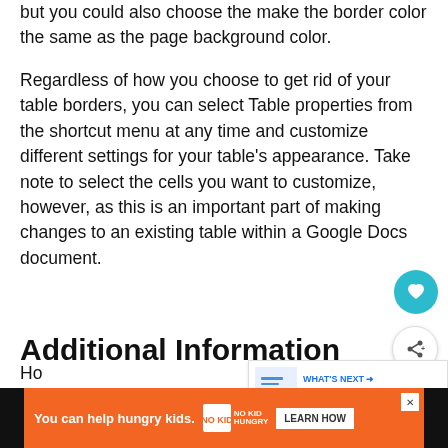but you could also choose the make the border color the same as the page background color.
Regardless of how you choose to get rid of your table borders, you can select Table properties from the shortcut menu at any time and customize different settings for your table's appearance. Take note to select the cells you want to customize, however, as this is an important part of making changes to an existing table within a Google Docs document.
Additional Information
How to Delete Columns in Google Docs (An Easy 4 Step Guide)
Ho...
[Figure (screenshot): What's Next panel showing 'How to Add a Line Betwe...']
[Figure (infographic): Advertisement banner: 'You can help hungry kids. No Kid Hungry. LEARN HOW']